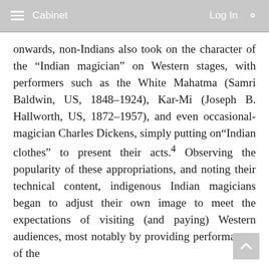Cabinet  Log In
onwards, non-Indians also took on the character of the “Indian magician” on Western stages, with performers such as the White Mahatma (Samri Baldwin, US, 1848–1924), Kar-Mi (Joseph B. Hallworth, US, 1872–1957), and even occasional-magician Charles Dickens, simply putting on “Indian clothes” to present their acts.⁴ Observing the popularity of these appropriations, and noting their technical content, indigenous Indian magicians began to adjust their own image to meet the expectations of visiting (and paying) Western audiences, most notably by providing performances of the